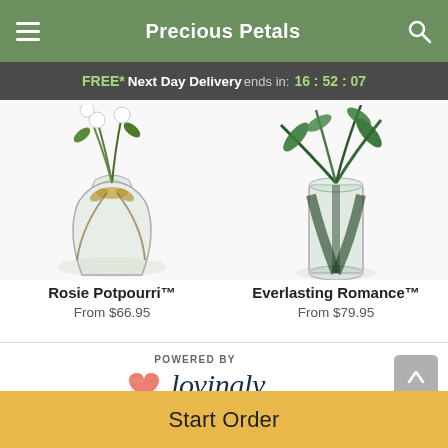Precious Petals
FREE* Next Day Delivery ends in: 16:52:07
[Figure (photo): Rosie Potpourri floral arrangement in a clear glass vase with white flowers and green leaves with a gold bow]
Rosie Potpourri™
From $66.95
[Figure (photo): Everlasting Romance floral arrangement in a tall cylindrical clear glass vase with dark green tropical leaves]
Everlasting Romance™
From $79.95
POWERED BY lovingly
Start Order